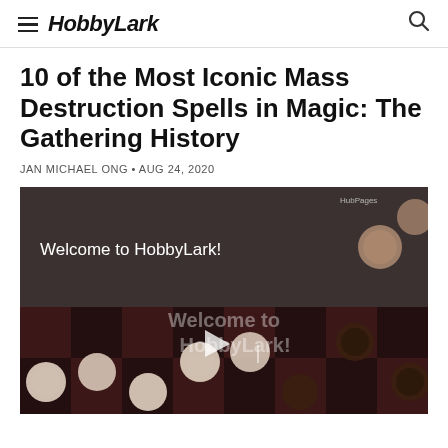HobbyLark
10 of the Most Iconic Mass Destruction Spells in Magic: The Gathering History
JAN MICHAEL ONG • AUG 24, 2020
[Figure (screenshot): Video thumbnail showing a checkerboard game with dark overlay. Top text reads 'Welcome to HobbyLark!' and center text with play button reads 'Welcome to HobbyLark!' with a watermark 'HubPages' in top right.]